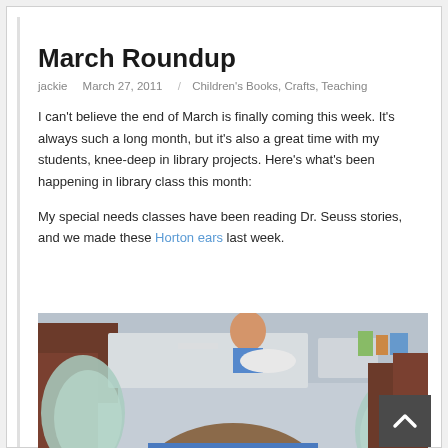March Roundup
jackie   March 27, 2011   Children's Books, Crafts, Teaching
I can't believe the end of March is finally coming this week. It's always such a long month, but it's also a great time with my students, knee-deep in library projects. Here's what's been happening in library class this month:
My special needs classes have been reading Dr. Seuss stories, and we made these Horton ears last week.
[Figure (photo): Classroom photo showing children sitting at tables doing a craft activity, with a child in the foreground wearing a blue outfit, and paper Horton ears visible.]